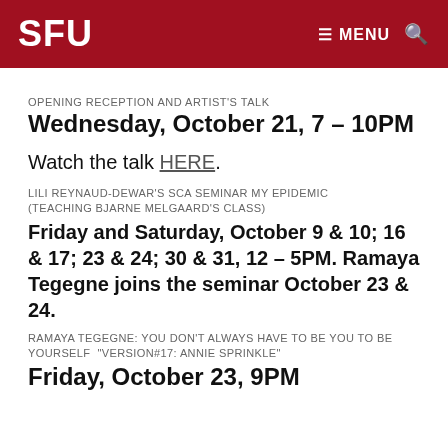SFU  ≡ MENU 🔍
OPENING RECEPTION AND ARTIST'S TALK
Wednesday, October 21, 7 – 10PM
Watch the talk HERE.
LILI REYNAUD-DEWAR'S SCA SEMINAR MY EPIDEMIC (TEACHING BJARNE MELGAARD'S CLASS)
Friday and Saturday, October 9 & 10; 16 & 17; 23 & 24; 30 & 31, 12 – 5PM. Ramaya Tegegne joins the seminar October 23 & 24.
RAMAYA TEGEGNE: YOU DON'T ALWAYS HAVE TO BE YOU TO BE YOURSELF  "VERSION#17: ANNIE SPRINKLE"
Friday, October 23, 9PM